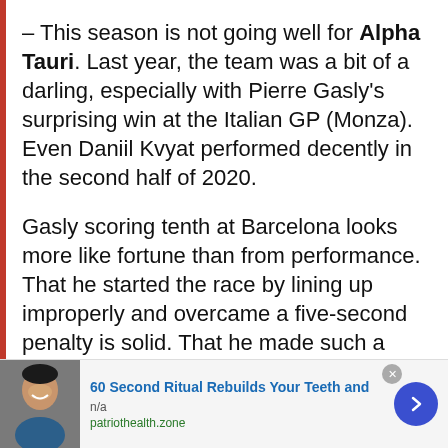– This season is not going well for Alpha Tauri. Last year, the team was a bit of a darling, especially with Pierre Gasly's surprising win at the Italian GP (Monza). Even Daniil Kvyat performed decently in the second half of 2020.
Gasly scoring tenth at Barcelona looks more like fortune than from performance. That he started the race by lining up improperly and overcame a five-second penalty is solid. That he made such a mistake is a question mark as to what is happening with the team and the performance as his teammate
[Figure (infographic): Advertisement banner at bottom of page. Shows a person smiling, with ad text '60 Second Ritual Rebuilds Your Teeth and', 'n/a', 'patriothealth.zone', and a blue circular arrow button.]